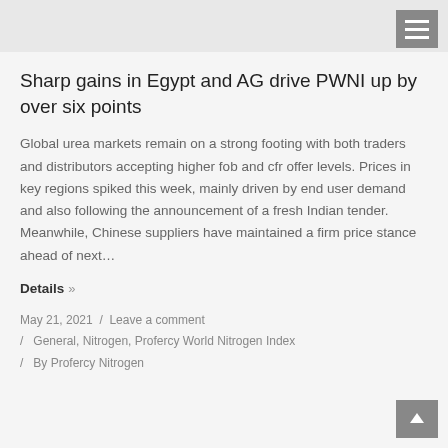Sharp gains in Egypt and AG drive PWNI up by over six points
Global urea markets remain on a strong footing with both traders and distributors accepting higher fob and cfr offer levels. Prices in key regions spiked this week, mainly driven by end user demand and also following the announcement of a fresh Indian tender. Meanwhile, Chinese suppliers have maintained a firm price stance ahead of next…
Details »
May 21, 2021  /  Leave a comment
/  General, Nitrogen, Profercy World Nitrogen Index
/  By Profercy Nitrogen